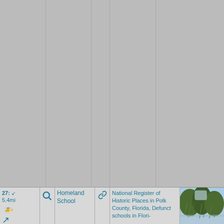[Figure (screenshot): Grid of gray columns taking up most of the page, representing a table/list interface with column separators]
| # | Search | Name | Link | Description | Photo |
| --- | --- | --- | --- | --- | --- |
| 27: ↙ 5.4mi 🚁 ↗ | 🔍 | Homeland School | 🔗 | National Register of Historic Places in Polk County, Florida, Defunct schools in Flori- | [photo of trees over water] |